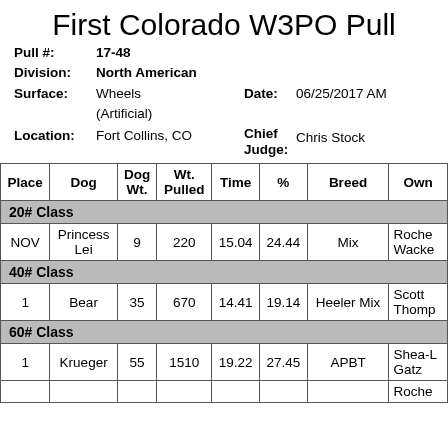First Colorado W3PO Pull
Pull #: 17-48
Division: North American
Surface: Wheels (Artificial)
Date: 06/25/2017 AM
Location: Fort Collins, CO
Chief Judge: Chris Stock
| Place | Dog | Dog Wt. | Wt. Pulled | Time | % | Breed | Own |
| --- | --- | --- | --- | --- | --- | --- | --- |
| 20# Class |  |  |  |  |  |  |  |
| NOV | Princess Lei | 9 | 220 | 15.04 | 24.44 | Mix | Roche Wacke |
| 40# Class |  |  |  |  |  |  |  |
| 1 | Bear | 35 | 670 | 14.41 | 19.14 | Heeler Mix | Scott Thomp |
| 60# Class |  |  |  |  |  |  |  |
| 1 | Krueger | 55 | 1510 | 19.22 | 27.45 | APBT | Shea-L Gatz |
|  |  |  |  |  |  |  | Roche |